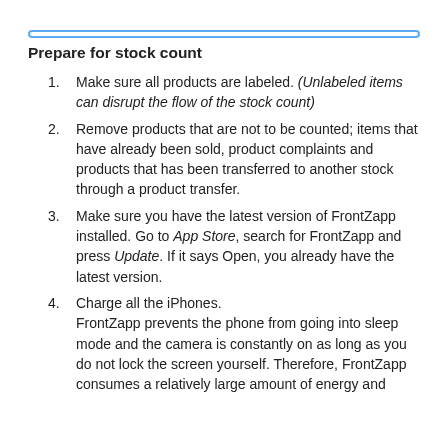Prepare for stock count
Make sure all products are labeled. (Unlabeled items can disrupt the flow of the stock count)
Remove products that are not to be counted; items that have already been sold, product complaints and products that has been transferred to another stock through a product transfer.
Make sure you have the latest version of FrontZapp installed. Go to App Store, search for FrontZapp and press Update. If it says Open, you already have the latest version.
Charge all the iPhones. FrontZapp prevents the phone from going into sleep mode and the camera is constantly on as long as you do not lock the screen yourself. Therefore, FrontZapp consumes a relatively large amount of energy and